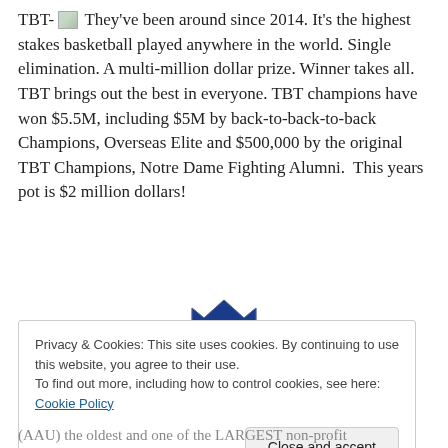TBT- [image] They've been around since 2014. It's the highest stakes basketball played anywhere in the world. Single elimination. A multi-million dollar prize. Winner takes all. TBT brings out the best in everyone. TBT champions have won $5.5M, including $5M by back-to-back-to-back Champions, Overseas Elite and $500,000 by the original TBT Champions, Notre Dame Fighting Alumni.  This years pot is $2 million dollars!
[Figure (logo): AAU logo - red and blue crown/badge logo with AAU text]
Privacy & Cookies: This site uses cookies. By continuing to use this website, you agree to their use.
To find out more, including how to control cookies, see here: Cookie Policy
Close and accept
(AAU) the oldest and one of the LARGEST non-profit